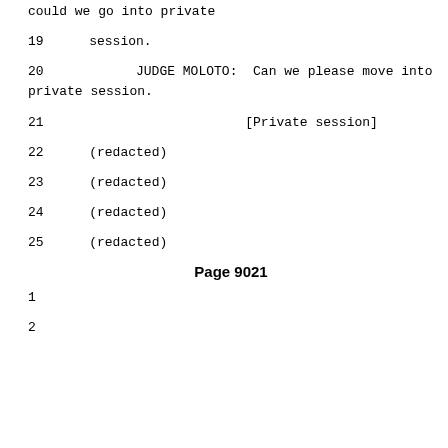could we go into private
19     session.
20          JUDGE MOLOTO:  Can we please move into private session.
21                              [Private session]
22    (redacted)
23    (redacted)
24    (redacted)
25    (redacted)
Page 9021
1
2